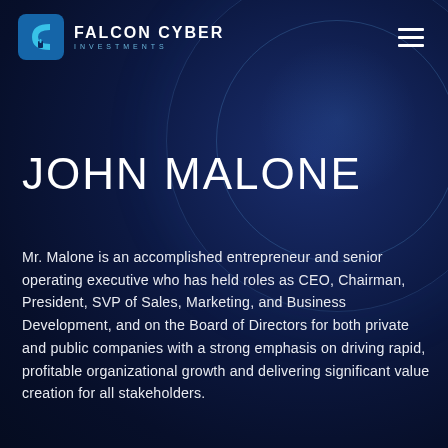[Figure (logo): Falcon Cyber Investments logo with stylized C icon in blue and white, company name in white uppercase letters with 'INVESTMENTS' subtitle in blue]
JOHN MALONE
Mr. Malone is an accomplished entrepreneur and senior operating executive who has held roles as CEO, Chairman, President, SVP of Sales, Marketing, and Business Development, and on the Board of Directors for both private and public companies with a strong emphasis on driving rapid, profitable organizational growth and delivering significant value creation for all stakeholders.